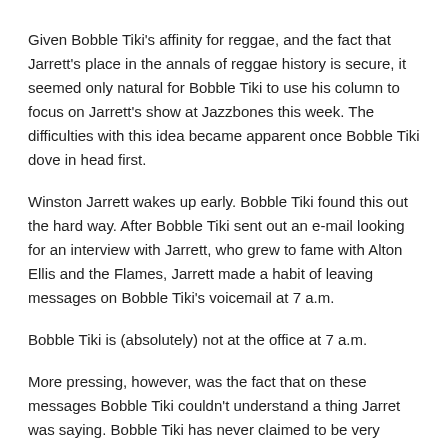Given Bobble Tiki's affinity for reggae, and the fact that Jarrett's place in the annals of reggae history is secure, it seemed only natural for Bobble Tiki to use his column to focus on Jarrett's show at Jazzbones this week. The difficulties with this idea became apparent once Bobble Tiki dove in head first.
Winston Jarrett wakes up early. Bobble Tiki found this out the hard way. After Bobble Tiki sent out an e-mail looking for an interview with Jarrett, who grew to fame with Alton Ellis and the Flames, Jarrett made a habit of leaving messages on Bobble Tiki's voicemail at 7 a.m.
Bobble Tiki is (absolutely) not at the office at 7 a.m.
More pressing, however, was the fact that on these messages Bobble Tiki couldn't understand a thing Jarret was saying. Bobble Tiki has never claimed to be very cultured, and when it comes to knowing about the ways of other people, Bobble Tiki isn't very schooled. Jarrett's island talk (correctly known as Jamaican Patois or Jamaican Creole) seemed indiscernible over Bobble Tiki's cell phone.